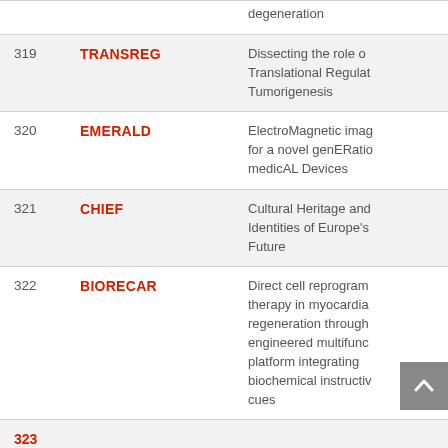| # | Name | Description |
| --- | --- | --- |
| (prev) | (prev) | degeneration |
| 319 | TRANSREG | Dissecting the role of Translational Regulation in Tumorigenesis |
| 320 | EMERALD | ElectroMagnetic imaging for a novel genERation of medicAL Devices |
| 321 | CHIEF | Cultural Heritage and Identities of Europe's Future |
| 322 | BIORECAR | Direct cell reprogramming therapy in myocardial regeneration through engineered multifunctional platform integrating biochemical instructive cues |
| 323 | (partial) | (partial) |